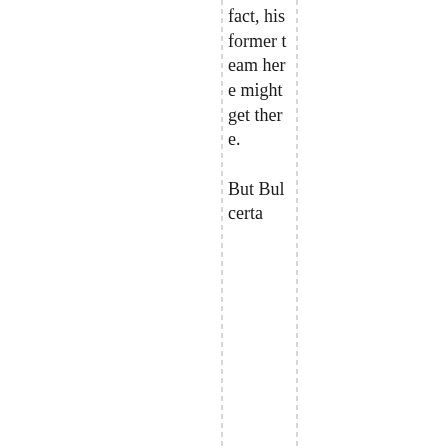fact, his former team here might get there. But Bulcerta